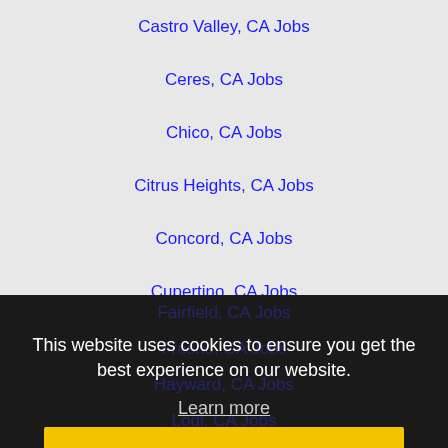Castro Valley, CA Jobs
Ceres, CA Jobs
Chico, CA Jobs
Citrus Heights, CA Jobs
Concord, CA Jobs
Cupertino, CA Jobs
Daly City, CA Jobs
Danville, CA Jobs
Dublin, CA Jobs
Elk Grove, CA Jobs
Fairfield, CA Jobs
Fresno, CA Jobs
Hayward, CA Jobs
Lodi, CA Jobs
Lincoln, CA Jobs
Livemore, CA Jobs
Lodi, CA Jobs
This website uses cookies to ensure you get the best experience on our website.
Learn more
Got it!